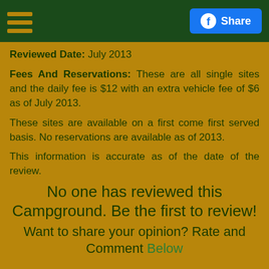☰  Share
Reviewed Date: July 2013
Fees And Reservations: These are all single sites and the daily fee is $12 with an extra vehicle fee of $6 as of July 2013.
These sites are available on a first come first served basis. No reservations are available as of 2013.
This information is accurate as of the date of the review.
No one has reviewed this Campground. Be the first to review!
Want to share your opinion? Rate and Comment Below